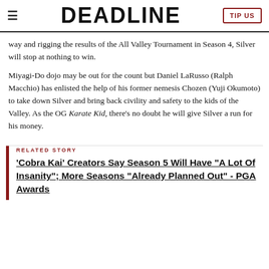DEADLINE
way and rigging the results of the All Valley Tournament in Season 4, Silver will stop at nothing to win.
Miyagi-Do dojo may be out for the count but Daniel LaRusso (Ralph Macchio) has enlisted the help of his former nemesis Chozen (Yuji Okumoto) to take down Silver and bring back civility and safety to the kids of the Valley. As the OG Karate Kid, there's no doubt he will give Silver a run for his money.
RELATED STORY
'Cobra Kai' Creators Say Season 5 Will Have "A Lot Of Insanity"; More Seasons "Already Planned Out" - PGA Awards